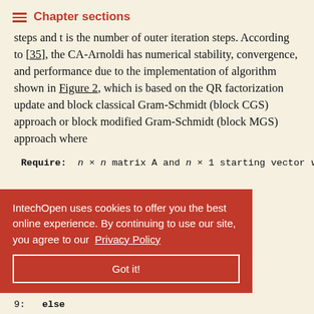Chapter sections
steps and t is the number of outer iteration steps. According to [35], the CA-Arnoldi has numerical stability, convergence, and performance due to the implementation of algorithm shown in Figure 2, which is based on the QR factorization update and block classical Gram-Schmidt (block CGS) approach or block modified Gram-Schmidt (block MGS) approach where
Require: n × n matrix A and n × 1 starting vector v
IntechOpen uses cookies to offer you the best online experience. By continuing to use our site, you agree to our Privacy Policy
Got it!
9:   else